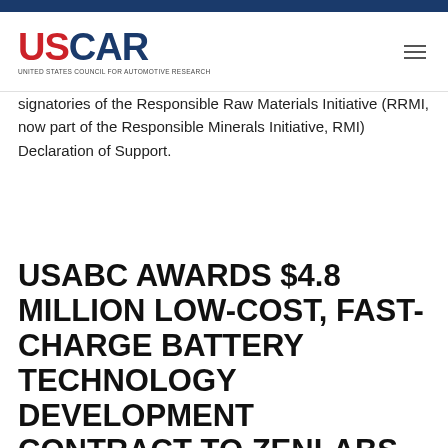USCAR — United States Council for Automotive Research
signatories of the Responsible Raw Materials Initiative (RRMI, now part of the Responsible Minerals Initiative, RMI) Declaration of Support.
USABC AWARDS $4.8 MILLION LOW-COST, FAST-CHARGE BATTERY TECHNOLOGY DEVELOPMENT CONTRACT TO ZENLABS ENERGY INC.